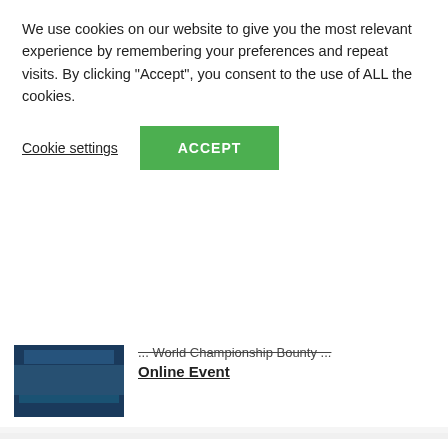We use cookies on our website to give you the most relevant experience by remembering your preferences and repeat visits. By clicking "Accept", you consent to the use of ALL the cookies.
Cookie settings  ACCEPT
... World Championship Bounty ...
Online Event
Computer Poker
WINNING A $10,000 Poker Tournament During PRE-DRINKS
Computer Poker
Range Advantage In GTO Poker